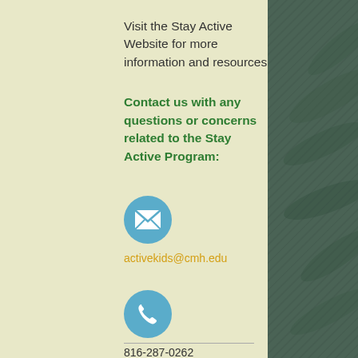Visit the Stay Active Website for more information and resources
Contact us with any questions or concerns related to the Stay Active Program:
[Figure (illustration): Blue circle icon with white envelope/mail symbol]
activekids@cmh.edu
[Figure (illustration): Blue circle icon with white telephone/phone symbol]
816-287-0262